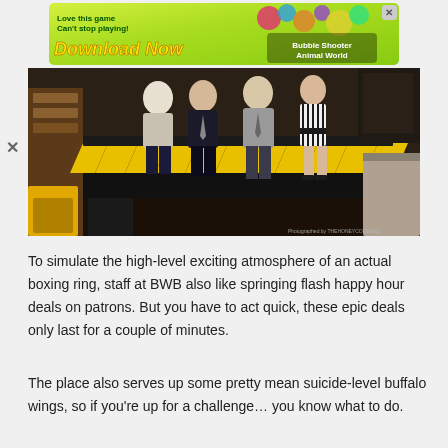[Figure (infographic): Advertisement banner: green/colourful background with 'Love this game Can't stop playing! Download Now' text and 'Bubble Shooter Animal World' label with colorful game imagery]
[Figure (photo): Photograph of people standing at a bar with black and yellow chevron-patterned bar front. Three men in suits and a woman in a striped dress are socializing. Restaurant/bar interior visible with wooden furniture and yellow accents.]
To simulate the high-level exciting atmosphere of an actual boxing ring, staff at BWB also like springing flash happy hour deals on patrons. But you have to act quick, these epic deals only last for a couple of minutes.
The place also serves up some pretty mean suicide-level buffalo wings, so if you're up for a challenge… you know what to do.